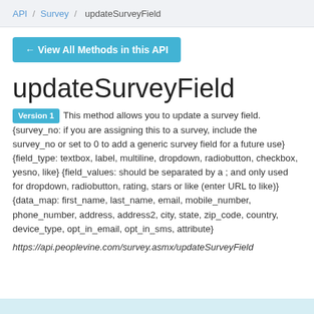API / Survey / updateSurveyField
← View All Methods in this API
updateSurveyField
Version 1  This method allows you to update a survey field. {survey_no: if you are assigning this to a survey, include the survey_no or set to 0 to add a generic survey field for a future use} {field_type: textbox, label, multiline, dropdown, radiobutton, checkbox, yesno, like} {field_values: should be separated by a ; and only used for dropdown, radiobutton, rating, stars or like (enter URL to like)} {data_map: first_name, last_name, email, mobile_number, phone_number, address, address2, city, state, zip_code, country, device_type, opt_in_email, opt_in_sms, attribute}
https://api.peoplevine.com/survey.asmx/updateSurveyField